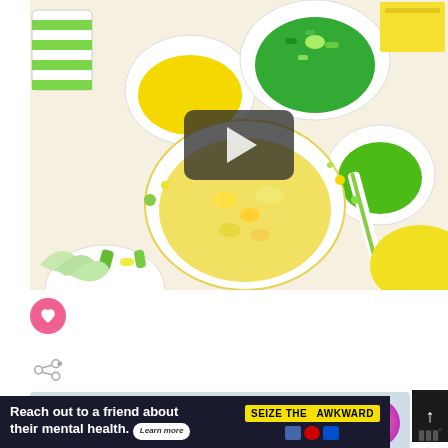[Figure (photo): Overhead flat-lay photo of yellow and green candy, cookies, sprinkles, and party supplies arranged on a white surface. A video play button overlay is centered on the image.]
[Figure (other): Pink circular button with a heart icon (like/favorite button)]
[Figure (other): Share button icon (circle with connected dots and plus)]
[Figure (other): Dark scroll-up arrow button on the right side]
WHAT'S NEXT →
DIY New-Sew Tulle...
[Figure (photo): Circular thumbnail image of a pink/purple craft item for the 'What's Next' panel]
Reach out to a friend about their mental health.
SEIZE THE AWKWARD
Learn more